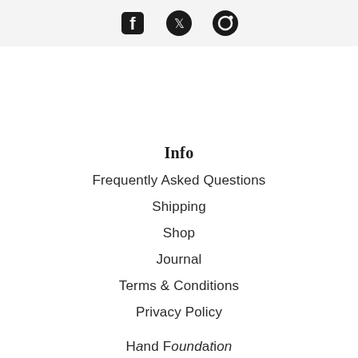[Figure (other): Social media icons (partially visible at top): Facebook, Twitter/X, and another icon on a light grey background bar]
Info
Frequently Asked Questions
Shipping
Shop
Journal
Terms & Conditions
Privacy Policy
H… d F… d…t…